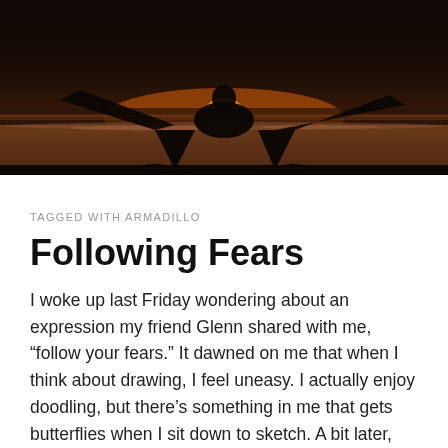[Figure (photo): Silhouette of a person doing a wide-legged yoga pose on a beach at sunset, arms stretched wide, against a warm orange and dark sky background with ocean waves visible]
TAGGED WITH ARMADILLO
Following Fears
I woke up last Friday wondering about an expression my friend Glenn shared with me, “follow your fears.” It dawned on me that when I think about drawing, I feel uneasy. I actually enjoy doodling, but there’s something in me that gets butterflies when I sit down to sketch. A bit later, during our morning ritual with my wife Andrea, I  sketched this cartoon instead of using words to express what I was